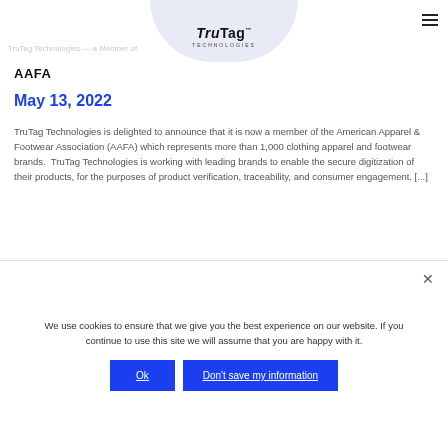TruTag Technologies — Member of
AAFA
May 13, 2022
TruTag Technologies is delighted to announce that it is now a member of the American Apparel & Footwear Association (AAFA) which represents more than 1,000 clothing apparel and footwear brands. TruTag Technologies is working with leading brands to enable the secure digitization of their products, for the purposes of product verification, traceability, and consumer engagement. [...]
We use cookies to ensure that we give you the best experience on our website. If you continue to use this site we will assume that you are happy with it.